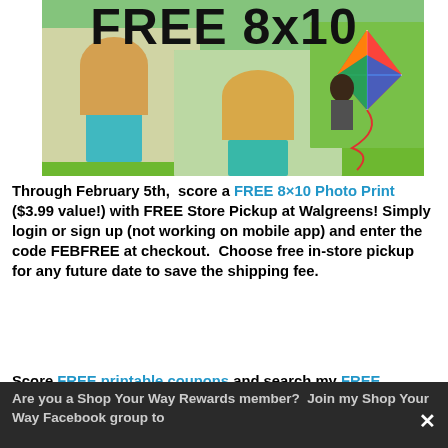FREE 8x10
[Figure (photo): Photo collage showing children outdoors — a smiling girl with long blonde hair, another girl smiling, and a man flying a colorful kite on a green lawn]
Through February 5th,  score a FREE 8×10 Photo Print ($3.99 value!) with FREE Store Pickup at Walgreens! Simply login or sign up (not working on mobile app) and enter the code FEBFREE at checkout.  Choose free in-store pickup for any future date to save the shipping fee.
Score FREE printable coupons and search my FREE coupon database as well.
Are you a Shop Your Way Rewards member?  Join my Shop Your Way Facebook group to